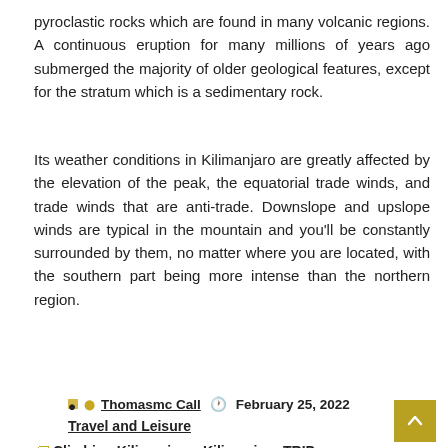pyroclastic rocks which are found in many volcanic regions. A continuous eruption for many millions of years ago submerged the majority of older geological features, except for the stratum which is a sedimentary rock.
Its weather conditions in Kilimanjaro are greatly affected by the elevation of the peak, the equatorial trade winds, and trade winds that are anti-trade. Downslope and upslope winds are typical in the mountain and you'll be constantly surrounded by them, no matter where you are located, with the southern part being more intense than the northern region.
[Figure (infographic): Social media share buttons: Facebook (blue circle), Google+ (red circle), Twitter (blue circle), and a blue plus/add button]
Thomasmc Call  February 25, 2022
Travel and Leisure
Climbing Kilimanjaro, Kilimanjaro TRIP